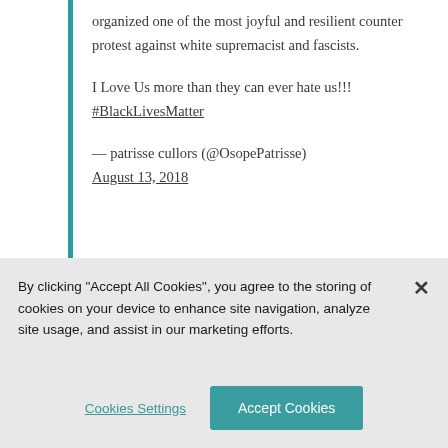organized one of the most joyful and resilient counter protest against white supremacist and fascists.

I Love Us more than they can ever hate us!!!
#BlackLivesMatter

— patrisse cullors (@OsopePatrisse) August 13, 2018
By clicking "Accept All Cookies", you agree to the storing of cookies on your device to enhance site navigation, analyze site usage, and assist in our marketing efforts.
Cookies Settings
Accept Cookies